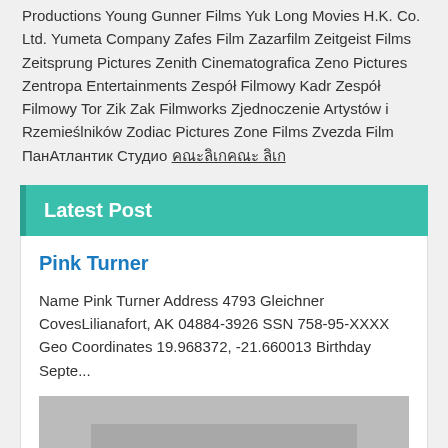Productions Young Gunner Films Yuk Long Movies H.K. Co. Ltd. Yumeta Company Zafes Film Zazarfilm Zeitgeist Films Zeitsprung Pictures Zenith Cinematografica Zeno Pictures Zentropa Entertainments Zespół Filmowy Kadr Zespół Filmowy Tor Zik Zak Filmworks Zjednoczenie Artystów i Rzemieślników Zodiac Pictures Zone Films Zvezda Film ПанАтлантик Студио คณะลิเกคณะ ลิเก
Latest Post
Pink Turner
Name Pink Turner Address 4793 Gleichner CovesLilianafort, AK 04884-3926 SSN 758-95-XXXX Geo Coordinates 19.968372, -21.660013 Birthday Septe...
[Figure (illustration): Placeholder image with grey background and nested grey rectangles]